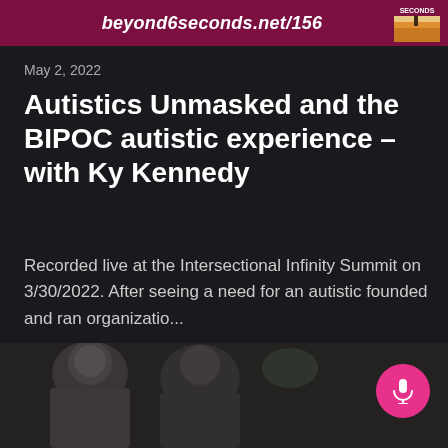beyond6seconds.net/156
May 2, 2022
Autistics Unmasked and the BIPOC autistic experience – with Ky Kennedy
Recorded live at the Intersectional Infinity Summit on 3/30/2022. After seeing a need for an autistic founded and ran organizatio...
→ Episode page
[Figure (photo): Photo strip at bottom of page showing people in a video/photo context, partially visible]